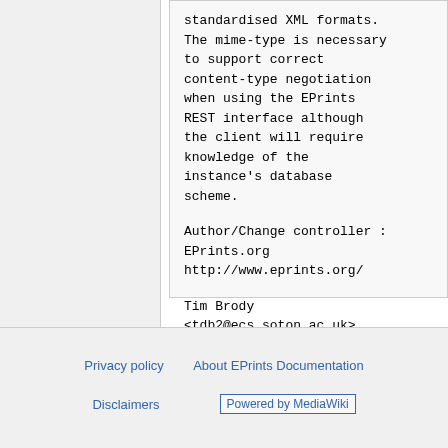standardised XML formats. The mime-type is necessary to support correct content-type negotiation when using the EPrints REST interface although the client will require knowledge of the instance's database scheme.

Author/Change controller : EPrints.org http://www.eprints.org/

Tim Brody <tdb2@ecs.soton.ac.uk>
Privacy policy   About EPrints Documentation   Disclaimers   Powered by MediaWiki